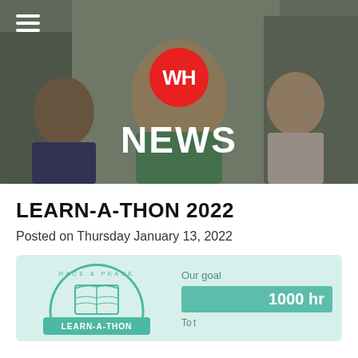[Figure (photo): Hero banner with children in classroom, dark overlay, WH red circle logo, and NEWS title text]
LEARN-A-THON 2022
Posted on Thursday January 13, 2022
[Figure (infographic): Learn-A-Thon 2022 promo graphic with Race & Peace circular badge logo with open book, teal LEARN-A-THON banner, Our goal label, 1000 hr teal bar, and Total label below]